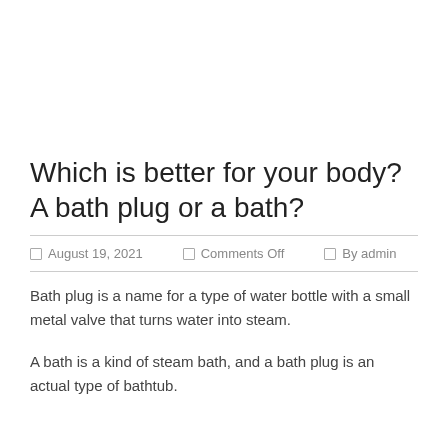Which is better for your body? A bath plug or a bath?
August 19, 2021   Comments Off   By admin
Bath plug is a name for a type of water bottle with a small metal valve that turns water into steam.
A bath is a kind of steam bath, and a bath plug is an actual type of bathtub.